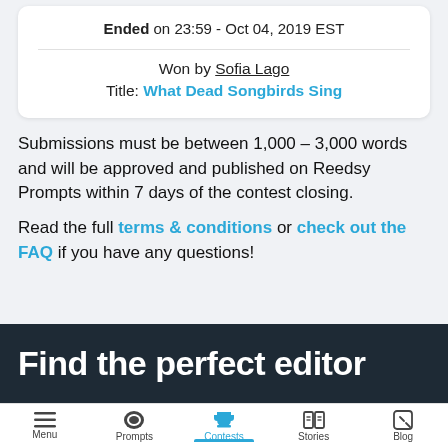Ended on 23:59 - Oct 04, 2019 EST
Won by Sofia Lago
Title: What Dead Songbirds Sing
Submissions must be between 1,000 - 3,000 words and will be approved and published on Reedsy Prompts within 7 days of the contest closing.
Read the full terms & conditions or check out the FAQ if you have any questions!
Find the perfect editor
Menu  Prompts  Contests  Stories  Blog